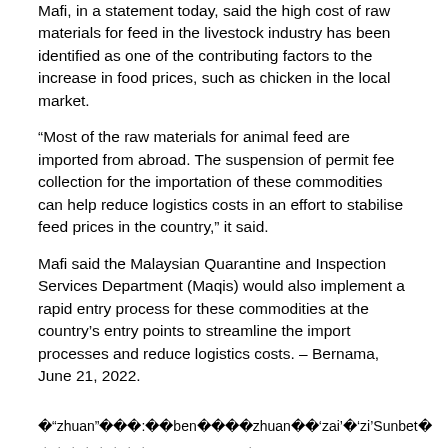Mafi, in a statement today, said the high cost of raw materials for feed in the livestock industry has been identified as one of the contributing factors to the increase in food prices, such as chicken in the local market.
“Most of the raw materials for animal feed are imported from abroad. The suspension of permit fee collection for the importation of these commodities can help reduce logistics costs in an effort to stabilise feed prices in the country,” it said.
Mafi said the Malaysian Quarantine and Inspection Services Department (Maqis) would also implement a rapid entry process for these commodities at the country’s entry points to streamline the import processes and reduce logistics costs. – Bernama, June 21, 2022.
 “zhuan”   :  ben    zhuan  ‘zai’ ‘zi’Sunbet 
        www.hx198.vip _Prosecution failed to establish time of alleged murder, says Samirah\u2019s lawyer